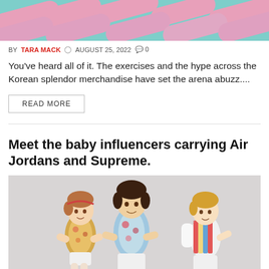[Figure (photo): Top portion of a product photo showing pink tubes/cylinders arranged diagonally on a teal/turquoise background]
BY TARA MACK  AUGUST 25, 2022  0
You’ve heard all of it. The exercises and the hype across the Korean splendor merchandise have set the arena abuzz....
READ MORE
Meet the baby influencers carrying Air Jordans and Supreme.
[Figure (photo): Three children dressed in fashionable floral and colorful outfits posing together on a light gray background]